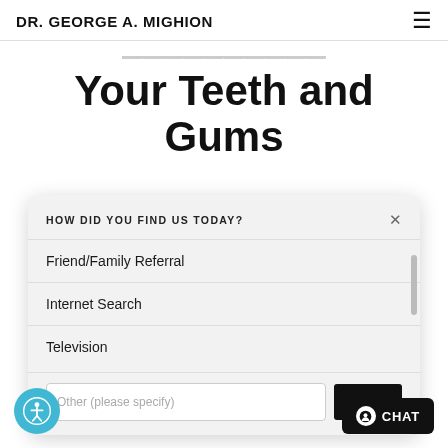DR. GEORGE A. MIGHION
Your Teeth and Gums
HOW DID YOU FIND US TODAY?
Friend/Family Referral
Internet Search
Television
Other (please specify)
SUBMIT
CHAT